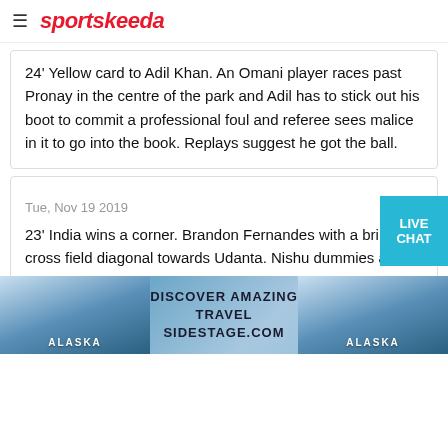sportskeeda
24' Yellow card to Adil Khan. An Omani player races past Pronay in the centre of the park and Adil has to stick out his boot to commit a professional foul and referee sees malice in it to go into the book. Replays suggest he got the ball.
Tue, Nov 19 2019
23' India wins a corner. Brandon Fernandes with a brilliant cross field diagonal towards Udanta. Nishu dummies a pass and Udanta races down the right wing to deliver a final pass but an Omani defender blocks the pass and India gets nothing from the counter.
[Figure (other): Advertisement banner for Alaska travel on sidestage.com with glacier/ice imagery on left and right, center text reads DISCOVER AMAZING TRAVEL SIDESTAGE.COM]